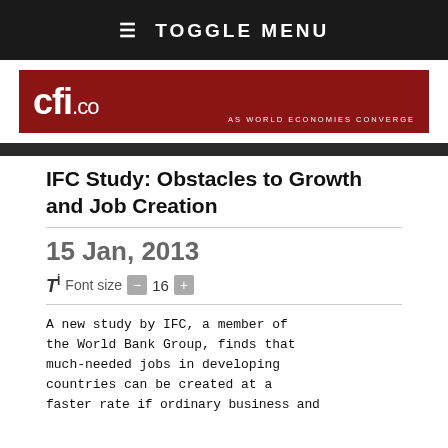≡ TOGGLE MENU
[Figure (logo): CFI.co logo banner — red background, white text 'cfi.co', tagline 'AS WORLD ECONOMIES CONVERGE']
IFC Study: Obstacles to Growth and Job Creation
15 Jan, 2013
Tİ  Font size  -  16  +
A new study by IFC, a member of the World Bank Group, finds that much-needed jobs in developing countries can be created at a faster rate if ordinary business obstacles are resolved.